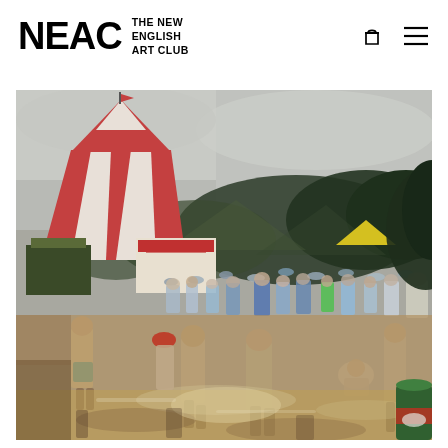NEAC THE NEW ENGLISH ART CLUB
[Figure (illustration): An impressionist oil painting of a busy outdoor fairground or festival scene. A large red and white striped tent dominates the upper left. A crowd of people mills about on a muddy ground. Trees and hills are visible in the background under an overcast sky. In the foreground right, a green and red cylindrical bin is visible.]